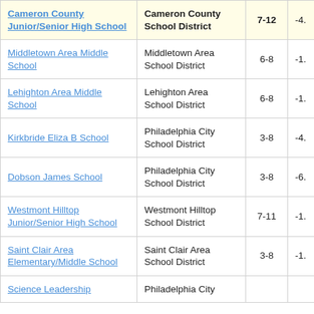| School Name | District | Grades | Value |
| --- | --- | --- | --- |
| Cameron County Junior/Senior High School | Cameron County School District | 7-12 | -4. |
| Middletown Area Middle School | Middletown Area School District | 6-8 | -1. |
| Lehighton Area Middle School | Lehighton Area School District | 6-8 | -1. |
| Kirkbride Eliza B School | Philadelphia City School District | 3-8 | -4. |
| Dobson James School | Philadelphia City School District | 3-8 | -6. |
| Westmont Hilltop Junior/Senior High School | Westmont Hilltop School District | 7-11 | -1. |
| Saint Clair Area Elementary/Middle School | Saint Clair Area School District | 3-8 | -1. |
| Science Leadership | Philadelphia City |  |  |